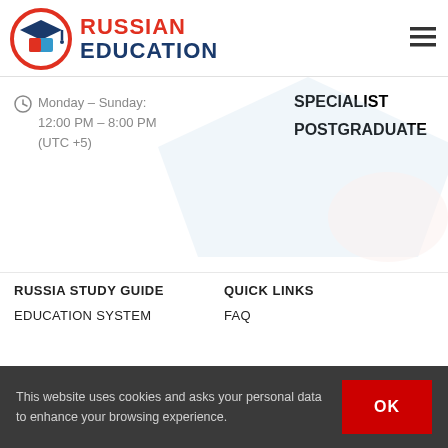[Figure (logo): Russian Education website logo with graduation cap icon in orange circle, text RUSSIAN EDUCATION in red and dark blue]
Monday – Sunday:
12:00 PM – 8:00 PM
(UTC +5)
SPECIALIST
POSTGRADUATE
RUSSIA STUDY GUIDE
QUICK LINKS
EDUCATION SYSTEM
FAQ
This website uses cookies and asks your personal data to enhance your browsing experience.